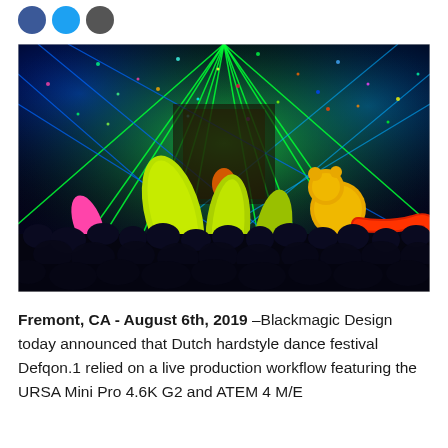[Figure (photo): Festival crowd at Defqon.1 hardstyle dance festival with green and blue laser lights, confetti in the air, and people holding inflatable items including yellow floaties and colorful inflatables. A performer is visible on stage in the background.]
Fremont, CA - August 6th, 2019 –Blackmagic Design today announced that Dutch hardstyle dance festival Defqon.1 relied on a live production workflow featuring the URSA Mini Pro 4.6K G2 and ATEM 4 M/E